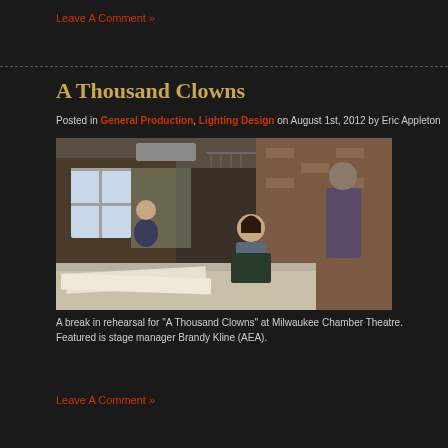Leave A Comment »
A Thousand Clowns
Posted in General Production, Lighting Design on August 1st, 2012 by Eric Appleton
[Figure (photo): A break in rehearsal for A Thousand Clowns at Milwaukee Chamber Theatre. Featured is stage manager Brandy Kline (AEA).]
A break in rehearsal for "A Thousand Clowns" at Milwaukee Chamber Theatre.  Featured is stage manager Brandy Kline (AEA).
Leave A Comment »